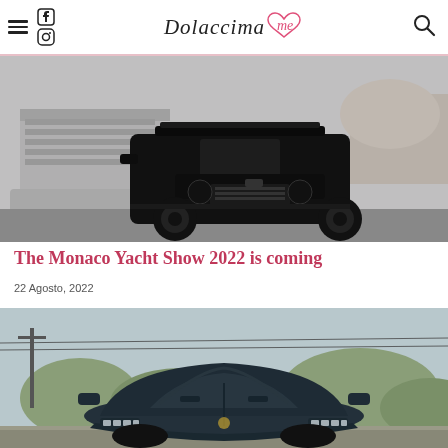Dolaccima me
[Figure (photo): Black SUV (Brabus/Mercedes G-Class) parked near a large yacht in Monaco, black and white photo]
The Monaco Yacht Show 2022 is coming
22 Agosto, 2022
[Figure (photo): Dark blue Bugatti Chiron supercar seen from the front, outdoor setting with trees and power lines in background]